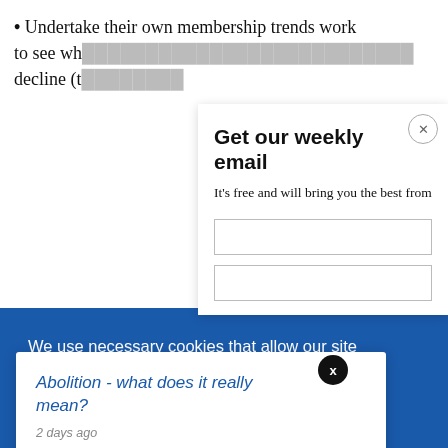• Undertake their own membership trends work to see wh… decline (t…
[Figure (screenshot): Email subscription modal overlay: 'Get our weekly email' with subtitle 'It's free and will bring you the best from', close X button, and two input boxes]
[Figure (screenshot): Cookie consent banner: blue background with text 'We use necessary cookies that allow our site to work. We also set optional cookies that help us improve our website. For more information about the types of cookies we use. READ OUR COOKIES POLICY HERE' and two buttons: COOKIE and ALLOW, with a dark X circle overlay]
[Figure (screenshot): Abolition popup: 'Abolition - what does it really mean? 2 days ago' in blue italic text on white card]
data.
should b…